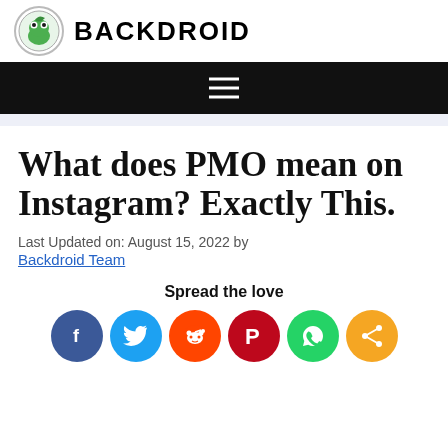BACKDROID
What does PMO mean on Instagram? Exactly This.
Last Updated on: August 15, 2022 by Backdroid Team
Spread the love
[Figure (infographic): Social share buttons: Facebook, Twitter, Reddit, Pinterest, WhatsApp, Share]